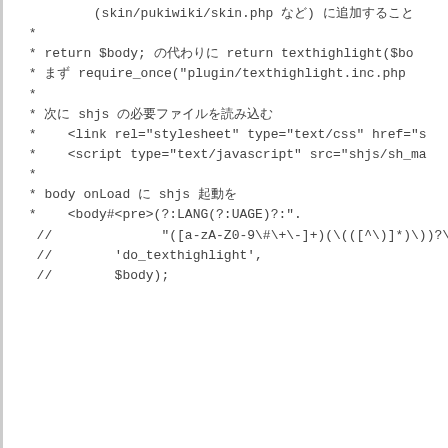* (skin/pukiwiki/skin.php など) に追加すること
 *
 * return $body; の代わりに return texthighlight($bo
 * まず require_once("plugin/texthighlight.inc.php
 *
 * 次に shjs の必要ファイルを読み込む
 *    <link rel="stylesheet" type="text/css" href="s
 *    <script type="text/javascript" src="shjs/sh_ma
 *
 * body onLoad に shjs 起動を
 *    <body onLoad="sh_highlightDocument('shjs/lang/
 *
 */

function texthighlight($body)
{
     // この関数内で preg_replace_callback を使わないのは
     // フィルタリングの $body の中に機能するかどうかテストするため

  //  return preg_replace_callback(
  //        "#<pre>(?:LANG(?:UAGE)?:".
  //              "([a-zA-Z0-9\#\+\-]+)(\(([^\)]*\)))?\n
  //        'do_texthighlight',
  //        $body);